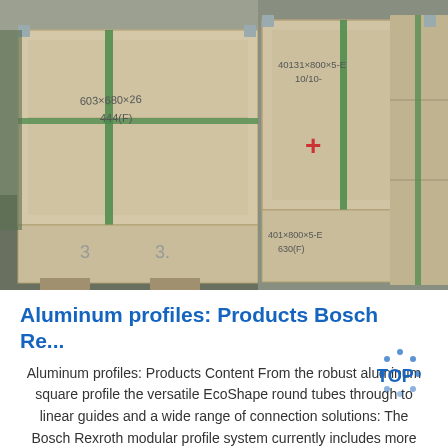[Figure (photo): Warehouse photo showing large wooden crates/pallets with handwritten labels in Chinese characters and markings, stacked in an industrial storage facility with green strapping bands.]
Aluminum profiles: Products Bosch Re...
Aluminum profiles: Products Content From the robust aluminum square profile the versatile EcoShape round tubes through to linear guides and a wide range of connection solutions: The Bosch Rexroth modular profile system currently includes more than 1500